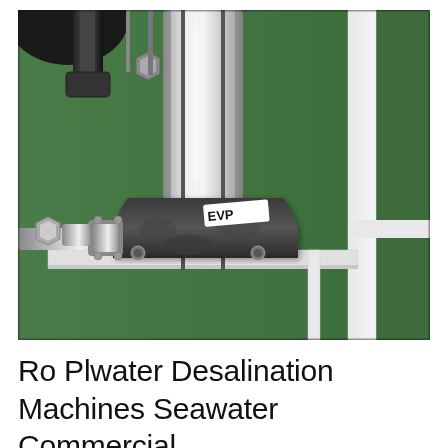[Figure (photo): Close-up photograph of industrial water pump machinery components: a polished stainless steel cylindrical pump body mounted on a black cast-iron pump base/housing with a label reading 'EVP', flanked by metal pipe fittings and connectors on the left, a white metal frame structure on the right, and a green background surface behind.]
Ro Plwater Desalination Machines Seawater Commercial